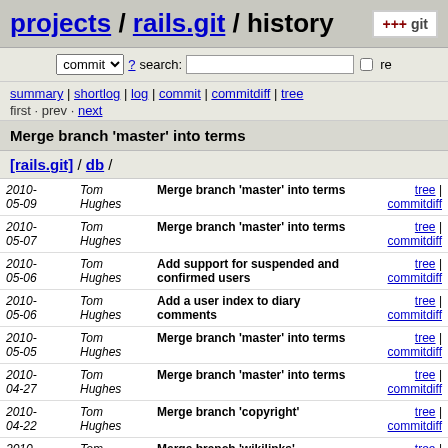projects / rails.git / history
commit ? search: re
summary | shortlog | log | commit | commitdiff | tree
first · prev · next
Merge branch 'master' into terms
[rails.git] / db /
| Date | Author | Message | Links |
| --- | --- | --- | --- |
| 2010-05-09 | Tom Hughes | Merge branch 'master' into terms | tree | commitdiff |
| 2010-05-07 | Tom Hughes | Merge branch 'master' into terms | tree | commitdiff |
| 2010-05-06 | Tom Hughes | Add support for suspended and confirmed users | tree | commitdiff |
| 2010-05-06 | Tom Hughes | Add a user index to diary comments | tree | commitdiff |
| 2010-05-05 | Tom Hughes | Merge branch 'master' into terms | tree | commitdiff |
| 2010-04-27 | Tom Hughes | Merge branch 'master' into terms | tree | commitdiff |
| 2010-04-22 | Tom Hughes | Merge branch 'copyright' | tree | commitdiff |
| 2010-04-22 | Tom Hughes | Merge branch 'wikilinks' | tree | commitdiff |